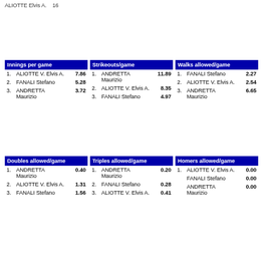ALIOTTE Elvis A. 16
| Innings per game |
| --- |
| 1. | ALIOTTE V. Elvis A. | 7.86 |
| 2. | FANALI Stefano | 5.28 |
| 3. | ANDRETTA Maurizio | 3.72 |
| Strikeouts/game |
| --- |
| 1. | ANDRETTA Maurizio | 11.89 |
| 2. | ALIOTTE V. Elvis A. | 8.35 |
| 3. | FANALI Stefano | 4.97 |
| Walks allowed/game |
| --- |
| 1. | FANALI Stefano | 2.27 |
| 2. | ALIOTTE V. Elvis A. | 2.54 |
| 3. | ANDRETTA Maurizio | 6.65 |
| Doubles allowed/game |
| --- |
| 1. | ANDRETTA Maurizio | 0.40 |
| 2. | ALIOTTE V. Elvis A. | 1.31 |
| 3. | FANALI Stefano | 1.56 |
| Triples allowed/game |
| --- |
| 1. | ANDRETTA Maurizio | 0.20 |
| 2. | FANALI Stefano | 0.28 |
| 3. | ALIOTTE V. Elvis A. | 0.41 |
| Homers allowed/game |
| --- |
| 1. | ALIOTTE V. Elvis A. | 0.00 |
|  | FANALI Stefano | 0.00 |
|  | ANDRETTA Maurizio | 0.00 |